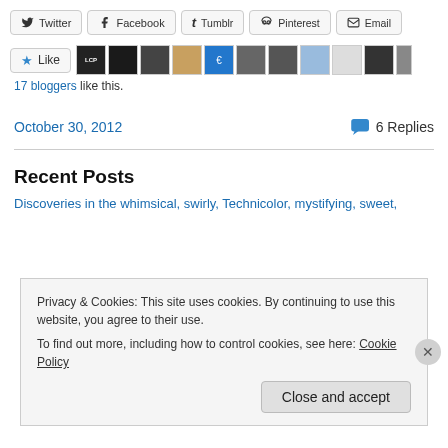Twitter | Facebook | Tumblr | Pinterest | Email (share buttons)
[Figure (other): Like button with star icon and a row of blogger avatar thumbnails]
17 bloggers like this.
October 30, 2012   💬 6 Replies
Recent Posts
Discoveries in the whimsical, swirly, Technicolor, mystifying, sweet,
Privacy & Cookies: This site uses cookies. By continuing to use this website, you agree to their use.
To find out more, including how to control cookies, see here: Cookie Policy
Close and accept